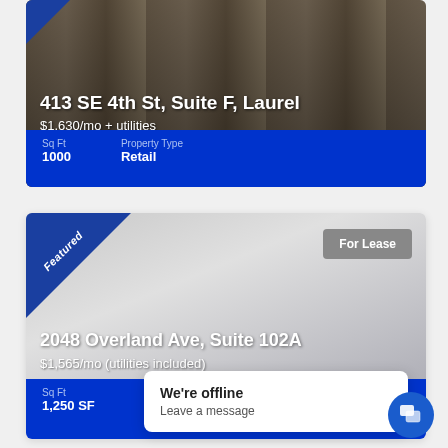[Figure (photo): Exterior photo of a commercial building with dark green roof, columns, and stone facade at 413 SE 4th St]
413 SE 4th St, Suite F, Laurel
$1,630/mo + utilities
| Sq Ft | Property Type |
| --- | --- |
| 1000 | Retail |
[Figure (photo): Gray gradient placeholder photo for 2048 Overland Ave listing with Featured corner banner and For Lease badge]
2048 Overland Ave, Suite 102A
$1,565/mo (utilities included)
| Sq Ft | Property Type |
| --- | --- |
| 1,250 SF | Office |
We're offline
Leave a message